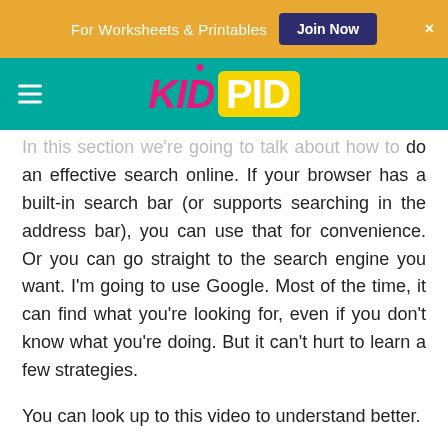For Worksheets & Printables  Join Now  ×
KID PID
In this section we're going to talk about how to do an effective search online. If your browser has a built-in search bar (or supports searching in the address bar), you can use that for convenience. Or you can go straight to the search engine you want. I'm going to use Google. Most of the time, it can find what you're looking for, even if you don't know what you're doing. But it can't hurt to learn a few strategies.
You can look up to this video to understand better.